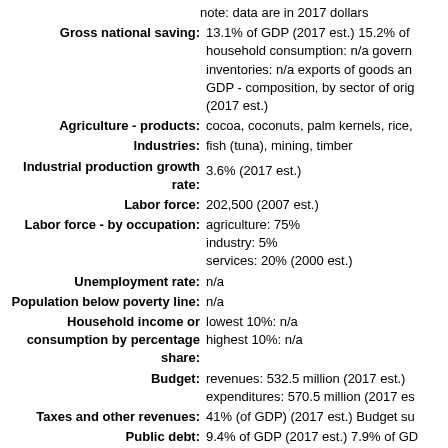note: data are in 2017 dollars
Gross national saving: 13.1% of GDP (2017 est.) 15.2% of household consumption: n/a government inventories: n/a exports of goods and GDP - composition, by sector of orig (2017 est.)
Agriculture - products: cocoa, coconuts, palm kernels, rice,
Industries: fish (tuna), mining, timber
Industrial production growth rate: 3.6% (2017 est.)
Labor force: 202,500 (2007 est.)
Labor force - by occupation: agriculture: 75% industry: 5% services: 20% (2000 est.)
Unemployment rate: n/a
Population below poverty line: n/a
Household income or consumption by percentage share: lowest 10%: n/a highest 10%: n/a
Budget: revenues: 532.5 million (2017 est.) expenditures: 570.5 million (2017 est.)
Taxes and other revenues: 41% (of GDP) (2017 est.) Budget su
Public debt: 9.4% of GDP (2017 est.) 7.9% of GD
Fiscal year: calendar year
Inflation rate (consumer prices): 0.5% (2017 est.) 0.5% (2016 est.)
Current account balance: $54 million (2017 est.) $49 million